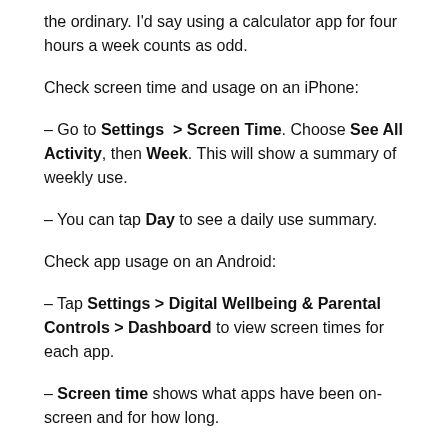the ordinary. I'd say using a calculator app for four hours a week counts as odd.
Check screen time and usage on an iPhone:
– Go to Settings > Screen Time. Choose See All Activity, then Week. This will show a summary of weekly use.
– You can tap Day to see a daily use summary.
Check app usage on an Android:
– Tap Settings > Digital Wellbeing & Parental Controls > Dashboard to view screen times for each app.
– Screen time shows what apps have been on-screen and for how long.